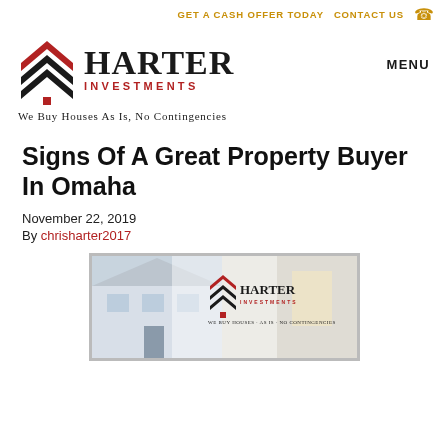GET A CASH OFFER TODAY   CONTACT US
[Figure (logo): Harter Investments logo with red and black chevron arrows, text HARTER INVESTMENTS, tagline We Buy Houses As Is, No Contingencies]
MENU
Signs Of A Great Property Buyer In Omaha
November 22, 2019
By chrisharter2017
[Figure (photo): Banner image showing a house exterior and interior overlaid with Harter Investments logo and tagline We Buy Houses As Is No Contingencies]